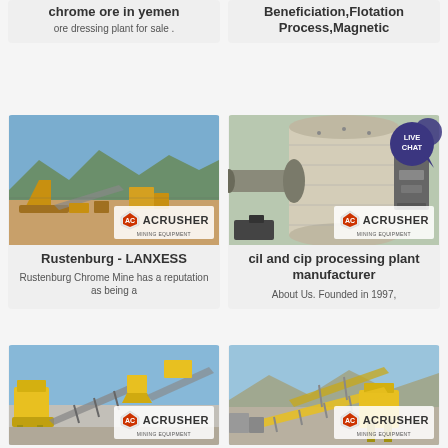chrome ore in yemen
ore dressing plant for sale .
Beneficiation,Flotation Process,Magnetic
[Figure (photo): Open pit mining site with crushing equipment and mountainous terrain in background, ACRUSHER Mining Equipment watermark]
Rustenburg - LANXESS
Rustenburg Chrome Mine has a reputation as being a
[Figure (photo): Large ball mill industrial grinding equipment, ACRUSHER Mining Equipment watermark, LIVE CHAT bubble overlay]
cil and cip processing plant manufacturer
About Us. Founded in 1997,
[Figure (photo): Yellow crushing plant with conveyor belts, ACRUSHER Mining Equipment watermark]
[Figure (photo): Conveyor belt system with crushing equipment in rocky terrain, ACRUSHER Mining Equipment watermark]